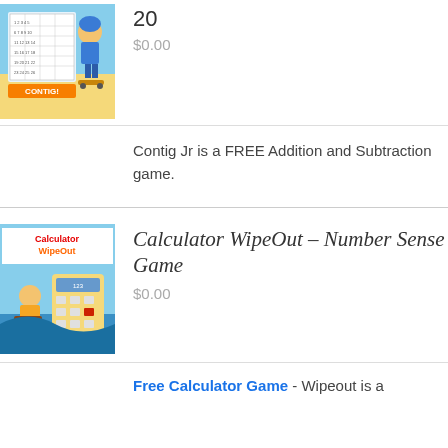[Figure (illustration): Contig Jr game cover with cartoon boy on skateboard and numbered grid]
20
$0.00
Contig Jr is a FREE Addition and Subtraction game.
[Figure (illustration): Calculator WipeOut game cover with cartoon child surfing and large calculator graphic]
Calculator WipeOut – Number Sense Game
$0.00
Free Calculator Game - Wipeout is a